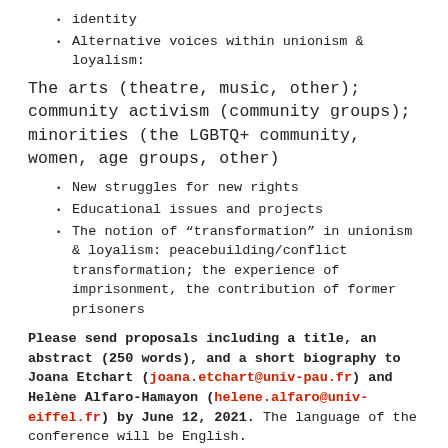identity
Alternative voices within unionism & loyalism:
The arts (theatre, music, other); community activism (community groups); minorities (the LGBTQ+ community, women, age groups, other)
New struggles for new rights
Educational issues and projects
The notion of “transformation” in unionism & loyalism: peacebuilding/conflict transformation; the experience of imprisonment, the contribution of former prisoners
Please send proposals including a title, an abstract (250 words), and a short biography to Joana Etchart (joana.etchart@univ-pau.fr) and Helène Alfaro-Hamayon (helene.alfaro@univ-eiffel.fr) by June 12, 2021. The language of the conference will be English.
Organisers: Hélène Alfaro-Hamayon (Laboratoire LISAA, Université Gustave Eiffel) and Joana